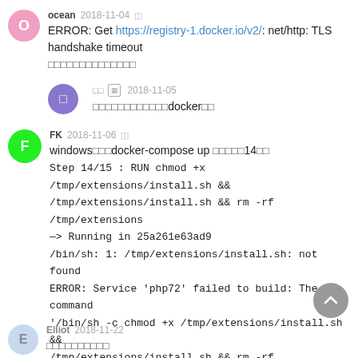ocean 2018-11-04 ERROR: Get https://registry-1.docker.io/v2/: net/http: TLS handshake timeout [CJK characters]
[CJK] 2018-11-05 [CJK characters]docker[CJK]
FK 2018-11-06 windows[CJK]docker-compose up [CJK]14[CJK] Step 14/15 : RUN chmod +x /tmp/extensions/install.sh && /tmp/extensions/install.sh && rm -rf /tmp/extensions —> Running in 25a261e63ad9 /bin/sh: 1: /tmp/extensions/install.sh: not found ERROR: Service 'php72' failed to build: The command '/bin/sh -c chmod +x /tmp/extensions/install.sh && /tmp/extensions/install.sh && rm -rf /tmp/extensions' returned a non-zero code: 127
Elliot 2018-11-22 [CJK characters]